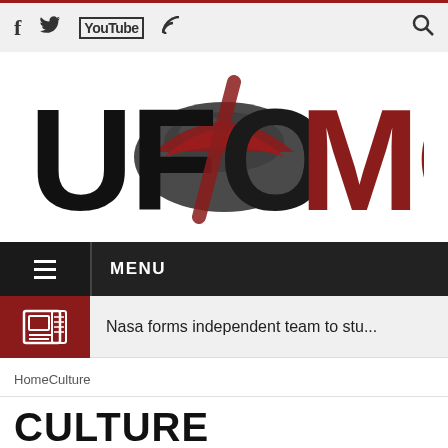Social icons: Facebook, Twitter, YouTube, RSS feed; Search icon
[Figure (logo): UFOMG! logo with large stylized text, black letters UF and MG! with a dark red UFO/saucer shape overlapping the O in the center]
MENU
Nasa forms independent team to stu...
HomeCulture
CULTURE